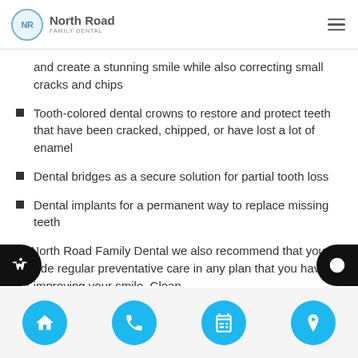North Road Family Dental
and create a stunning smile while also correcting small cracks and chips
Tooth-colored dental crowns to restore and protect teeth that have been cracked, chipped, or have lost a lot of enamel
Dental bridges as a secure solution for partial tooth loss
Dental implants for a permanent way to replace missing teeth
At North Road Family Dental we also recommend that you include regular preventative care in any plan that you have for improving your smile. Clean